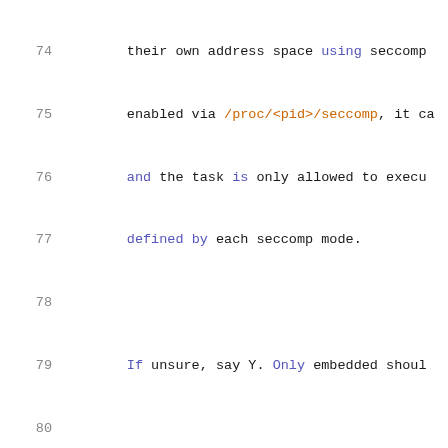[Figure (screenshot): Source code listing showing lines 74-95 of a Linux kernel Kconfig file with syntax highlighting. Keywords in blue/purple, strings in green, paths/operators in orange, line numbers in gray.]